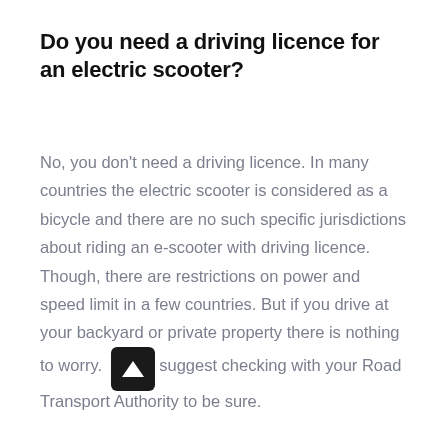Do you need a driving licence for an electric scooter?
No, you don't need a driving licence. In many countries the electric scooter is considered as a bicycle and there are no such specific jurisdictions about riding an e-scooter with driving licence. Though, there are restrictions on power and speed limit in a few countries. But if you drive at your backyard or private property there is nothing to worry. We suggest checking with your Road Transport Authority to be sure.